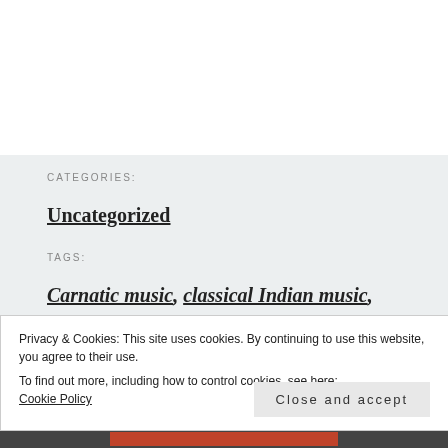CATEGORIES:
Uncategorized
TAGS:
Carnatic music, classical Indian music,
Privacy & Cookies: This site uses cookies. By continuing to use this website, you agree to their use.
To find out more, including how to control cookies, see here:
Cookie Policy
Close and accept